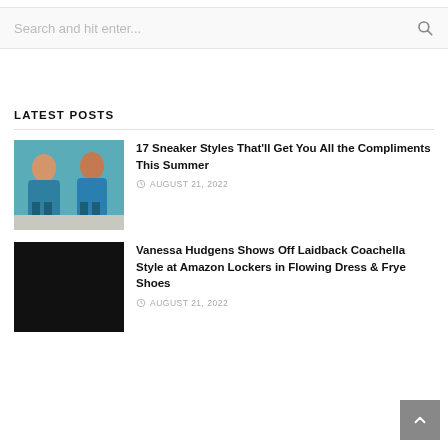Search and hit enter...
LATEST POSTS
[Figure (photo): Two women wearing teal dresses with floral patterns]
17 Sneaker Styles That'll Get You All the Compliments This Summer
AUGUST 21, 2022
[Figure (photo): Dark/black background photo thumbnail]
Vanessa Hudgens Shows Off Laidback Coachella Style at Amazon Lockers in Flowing Dress & Frye Shoes
AUGUST 21, 2022